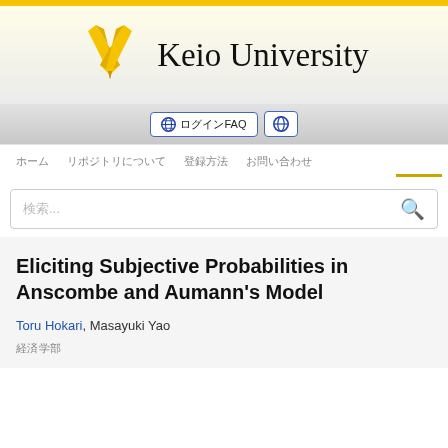[Figure (logo): Keio University logo with crossed pen/quill icon in gold and university name in serif font]
🌐 ログインFAQ  🌐
ホーム　リポジトリについて　登録方法　お問い合わせ
Eliciting Subjective Probabilities in Anscombe and Aumann's Model
Toru Hokari, Masayuki Yao
経済学部